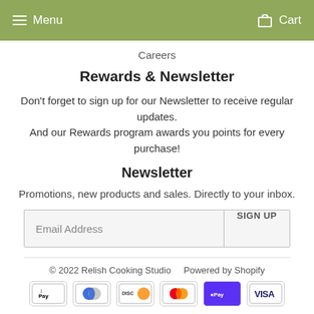Menu   Cart
Careers
Rewards & Newsletter
Don't forget to sign up for our Newsletter to receive regular updates. And our Rewards program awards you points for every purchase!
Newsletter
Promotions, new products and sales. Directly to your inbox.
Email Address   SIGN UP
© 2022 Relish Cooking Studio   Powered by Shopify
[Figure (other): Payment method icons: Apple Pay, Diners Club, Discover, Mastercard, Shop Pay, Visa]